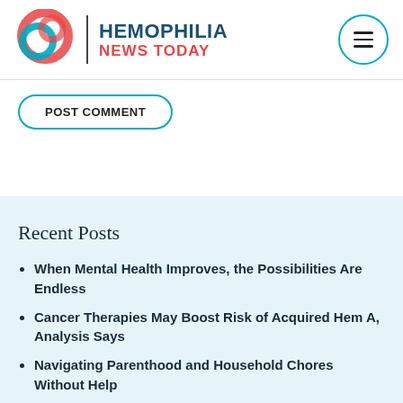Hemophilia News Today
POST COMMENT
Recent Posts
When Mental Health Improves, the Possibilities Are Endless
Cancer Therapies May Boost Risk of Acquired Hem A, Analysis Says
Navigating Parenthood and Household Chores Without Help
Diabetes, HIV Can Lead to High Blood...